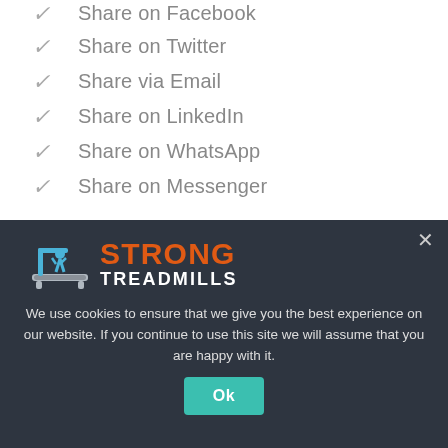✓ Share on Facebook
✓ Share on Twitter
✓ Share via Email
✓ Share on LinkedIn
✓ Share on WhatsApp
✓ Share on Messenger
[Figure (logo): Strong Treadmills logo with treadmill icon in blue and orange text]
We use cookies to ensure that we give you the best experience on our website. If you continue to use this site we will assume that you are happy with it.